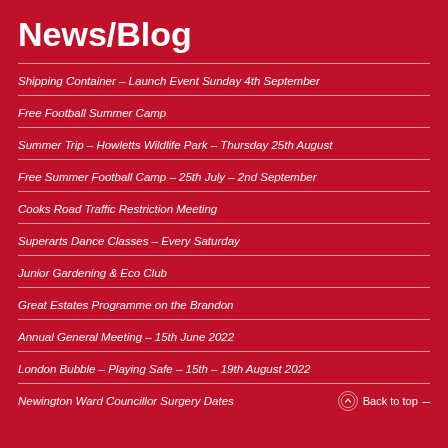News/Blog
Shipping Container – Launch Event Sunday 4th September
Free Football Summer Camp
Summer Trip – Howletts Wildlife Park – Thursday 25th August
Free Summer Football Camp – 25th July – 2nd September
Cooks Road Traffic Restriction Meeting
Superarts Dance Classes – Every Saturday
Junior Gardening & Eco Club
Great Estates Programme on the Brandon
Annual General Meeting – 15th June 2022
London Bubble – Playing Safe – 15th – 19th August 2022
Newington Ward Councillor Surgery Dates
Back to top